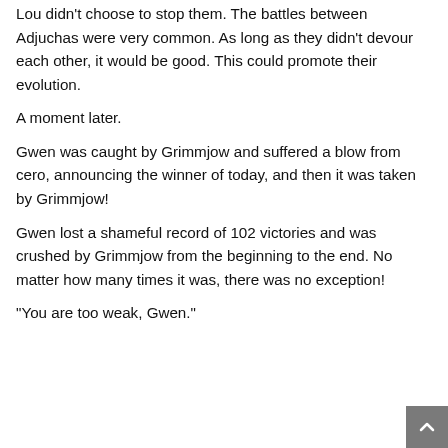Lou didn't choose to stop them. The battles between Adjuchas were very common. As long as they didn't devour each other, it would be good. This could promote their evolution.
A moment later.
Gwen was caught by Grimmjow and suffered a blow from cero, announcing the winner of today, and then it was taken by Grimmjow!
Gwen lost a shameful record of 102 victories and was crushed by Grimmjow from the beginning to the end. No matter how many times it was, there was no exception!
“You are too weak, Gwen.”